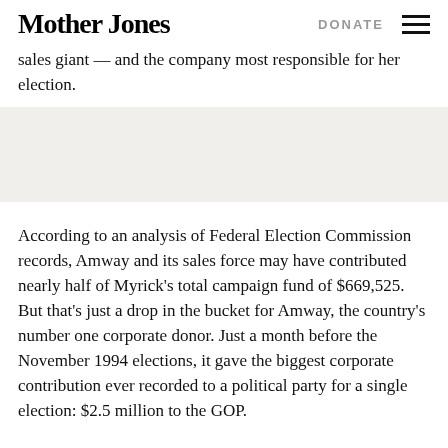Mother Jones | DONATE
sales giant — and the company most responsible for her election.
According to an analysis of Federal Election Commission records, Amway and its sales force may have contributed nearly half of Myrick's total campaign fund of $669,525. But that's just a drop in the bucket for Amway, the country's number one corporate donor. Just a month before the November 1994 elections, it gave the biggest corporate contribution ever recorded to a political party for a single election: $2.5 million to the GOP.